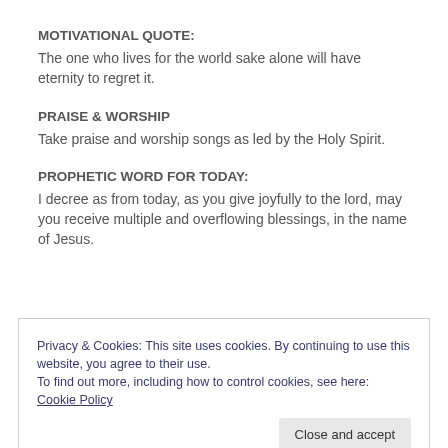MOTIVATIONAL QUOTE:
The one who lives for the world sake alone will have eternity to regret it.
PRAISE & WORSHIP
Take praise and worship songs as led by the Holy Spirit.
PROPHETIC WORD FOR TODAY:
I decree as from today, as you give joyfully to the lord, may you receive multiple and overflowing blessings, in the name of Jesus.
Privacy & Cookies: This site uses cookies. By continuing to use this website, you agree to their use.
To find out more, including how to control cookies, see here: Cookie Policy
Close and accept